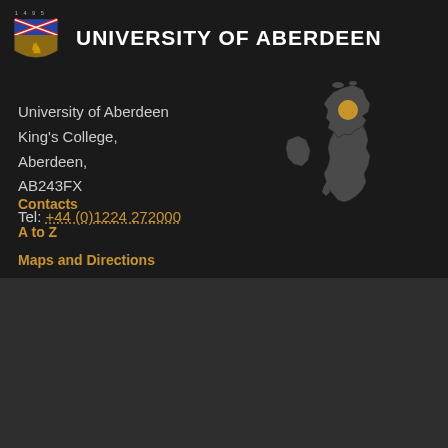[Figure (logo): University of Aberdeen shield logo with year 1495 above]
UNIVERSITY OF ABERDEEN
University of Aberdeen
King's College,
Aberdeen,
AB243FX
Tel: +44 (0)1224 272000
Contacts
A to Z
Maps and Directions
Staff Directory
[Figure (map): Dark silhouette map of the United Kingdom with a gold location pin marker placed in Scotland near Aberdeen]
We use cookies to give you the best possible experience
If you don't want to accept cookies you can change preferences
Accept All Cookies
Settings